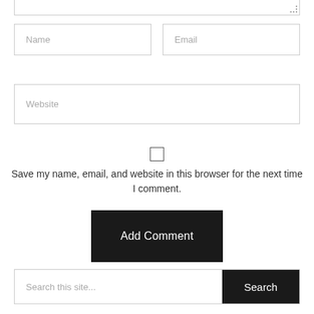[Figure (screenshot): Partial textarea input box at the top of a comment form, showing resize handle in bottom-right corner]
Name
Email
Website
[Figure (screenshot): Unchecked checkbox]
Save my name, email, and website in this browser for the next time I comment.
Add Comment
Search this site...
Search